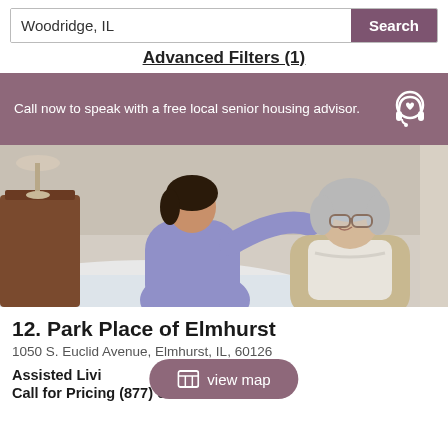Woodridge, IL
Search
Advanced Filters (1)
Call now to speak with a free local senior housing advisor.
[Figure (photo): Caregiver in purple scrubs helping an elderly woman with gray hair and glasses, seated on a bed in a bedroom setting.]
12. Park Place of Elmhurst
1050 S. Euclid Avenue, Elmhurst, IL, 60126
Assisted Living
Call for Pricing (877) 674-4754
view map